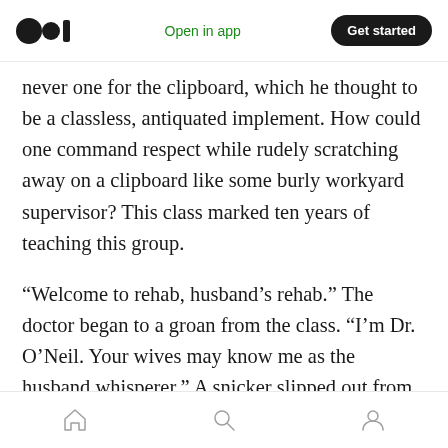Medium logo | Open in app | Get started
never one for the clipboard, which he thought to be a classless, antiquated implement. How could one command respect while rudely scratching away on a clipboard like some burly workyard supervisor? This class marked ten years of teaching this group.
“Welcome to rehab, husband’s rehab.” The doctor began to a groan from the class. “I’m Dr. O’Neil. Your wives may know me as the husband whisperer,” A snicker slipped out from the back. “But you can call me Doc. If you pay attention and apply yourself there’s a good chance your
Home | Search | Profile